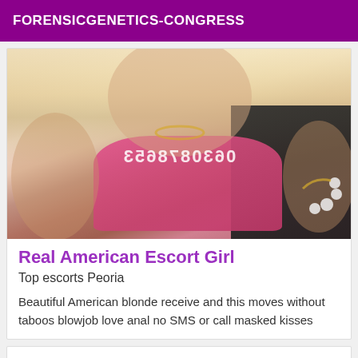FORENSICGENETICS-CONGRESS
[Figure (photo): Photo of a blonde woman wearing a pink top and black outfit, with a mirrored/reversed phone number overlay reading 0630878653]
Real American Escort Girl
Top escorts Peoria
Beautiful American blonde receive and this moves without taboos blowjob love anal no SMS or call masked kisses